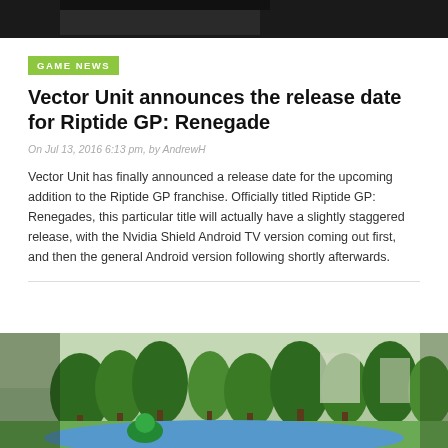[Figure (photo): Partial view of a dark-colored object cropped at top of page]
GAME NEWS
Vector Unit announces the release date for Riptide GP: Renegade
On Jul 13, 2016 6:13 pm, by AndrewH
Vector Unit has finally announced a release date for the upcoming addition to the Riptide GP franchise. Officially titled Riptide GP: Renegades, this particular title will actually have a slightly staggered release, with the Nvidia Shield Android TV version coming out first, and then the general Android version following shortly afterwards.
[Figure (photo): Screenshot from Riptide GP: Renegade game showing a racing scene with trees and water in the background]